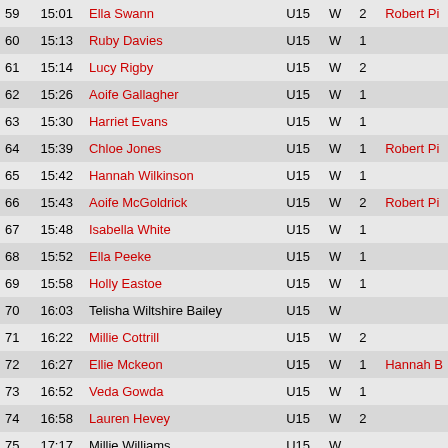| # | Time | Name | Cat | Gen | Laps | Extra |
| --- | --- | --- | --- | --- | --- | --- |
| 59 | 15:01 | Ella Swann | U15 | W | 2 | Robert Pi… |
| 60 | 15:13 | Ruby Davies | U15 | W | 1 |  |
| 61 | 15:14 | Lucy Rigby | U15 | W | 2 |  |
| 62 | 15:26 | Aoife Gallagher | U15 | W | 1 |  |
| 63 | 15:30 | Harriet Evans | U15 | W | 1 |  |
| 64 | 15:39 | Chloe Jones | U15 | W | 1 | Robert Pi… |
| 65 | 15:42 | Hannah Wilkinson | U15 | W | 1 |  |
| 66 | 15:43 | Aoife McGoldrick | U15 | W | 2 | Robert Pi… |
| 67 | 15:48 | Isabella White | U15 | W | 1 |  |
| 68 | 15:52 | Ella Peeke | U15 | W | 1 |  |
| 69 | 15:58 | Holly Eastoe | U15 | W | 1 |  |
| 70 | 16:03 | Telisha Wiltshire Bailey | U15 | W |  |  |
| 71 | 16:22 | Millie Cottrill | U15 | W | 2 |  |
| 72 | 16:27 | Ellie Mckeon | U15 | W | 1 | Hannah B… |
| 73 | 16:52 | Veda Gowda | U15 | W | 1 |  |
| 74 | 16:58 | Lauren Hevey | U15 | W | 2 |  |
| 75 | 17:17 | Millie Williams | U15 | W |  |  |
UK Athletics |  England Athletics |  Scottish Athletics |  Athl…